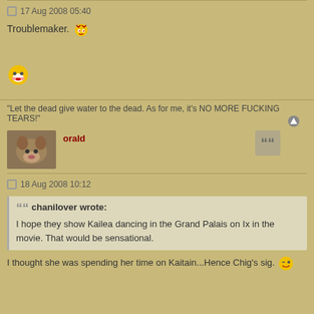17 Aug 2008 05:40
Troublemaker. [emoji]
[Figure (illustration): laughing emoji face]
"Let the dead give water to the dead. As for me, it's NO MORE FUCKING TEARS!"
orald
18 Aug 2008 10:12
chanilover wrote: I hope they show Kailea dancing in the Grand Palais on Ix in the movie. That would be sensational.
I thought she was spending her time on Kaitain...Hence Chig's sig. [emoji]